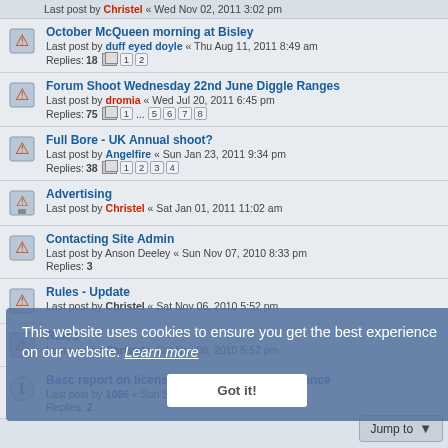Last post by Christel « Wed Nov 02, 2011 3:02 pm
October McQueen morning at Bisley
Last post by duff eyed doyle « Thu Aug 11, 2011 8:49 am
Replies: 18 [1][2]
Forum Shoot Wednesday 22nd June Diggle Ranges
Last post by dromia « Wed Jul 20, 2011 6:45 pm
Replies: 75 [1]...[5][6][7][8]
Full Bore - UK Annual shoot?
Last post by Angelfire « Sun Jan 23, 2011 9:34 pm
Replies: 38 [1][2][3][4]
Advertising
Last post by Christel « Sat Jan 01, 2011 11:02 am
Contacting Site Admin
Last post by Anson Deeley « Sun Nov 07, 2010 8:33 pm
Replies: 3
Rules - Update
Last post by Christel « Sat Nov 06, 2010 5:52 pm
Rules
Last post by Christel « Sat Nov 06, 2010 5:52 pm
Basc report on licensing department performance
Last post by 1066 « Sun Sep 04, 2022 5:13 pm
Replies: 2
This website uses cookies to ensure you get the best experience on our website. Learn more
Got it!